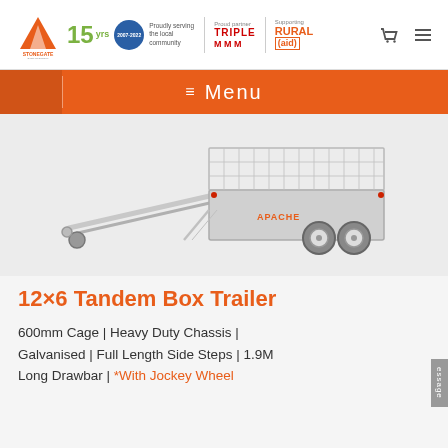Stonegate Industries | 15 yrs 2007-2022 Proudly serving the local community | Proud partner TRIPLE M | Supporting RURAL aid
≔ Menu
[Figure (photo): Photograph of a 12x6 Tandem Box Trailer with 600mm mesh cage sides, galvanised finish, dual axle wheels, and a long drawbar with jockey wheel.]
12×6 Tandem Box Trailer
600mm Cage | Heavy Duty Chassis | Galvanised | Full Length Side Steps | 1.9M Long Drawbar | *With Jockey Wheel